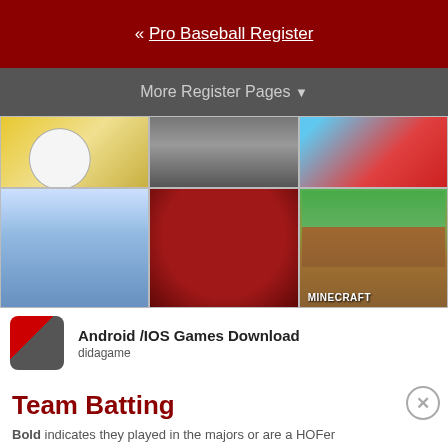« Pro Baseball Register
More Register Pages ▼
[Figure (screenshot): Advertisement grid showing mobile game screenshots — magnify glass, group of people, King game logo, white figure game, scissors/red riding hood game, Minecraft — with label 'Android /IOS Games Download' and subtitle 'didagame']
Team Batting
Bold indicates they played in the majors or are a HOFer
Share & Export ▼    Glossary
Scroll Right For More Stats · Switch to Widescreen View ►